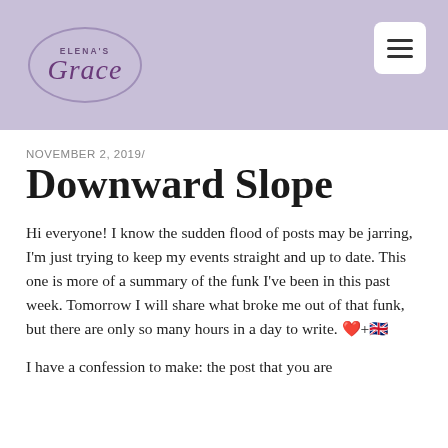[Figure (logo): Elena's Grace blog logo in an oval shape on a lavender/purple header banner with a hamburger menu button in the top right]
NOVEMBER 2, 2019/
Downward Slope
Hi everyone! I know the sudden flood of posts may be jarring, I'm just trying to keep my events straight and up to date. This one is more of a summary of the funk I've been in this past week. Tomorrow I will share what broke me out of that funk, but there are only so many hours in a day to write. ❤️+🇬🇧
I have a confession to make: the post that you are